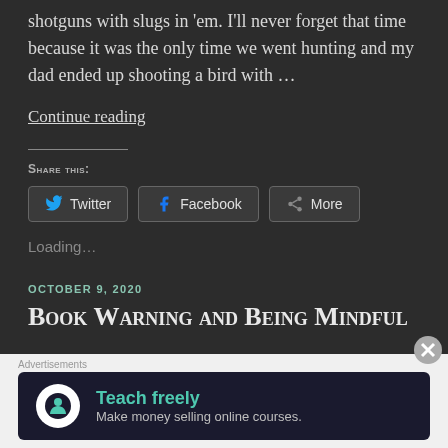shotguns with slugs in 'em. I'll never forget that time because it was the only time we went hunting and my dad ended up shooting a bird with …
Continue reading
Share this:
Twitter  Facebook  More
Loading…
OCTOBER 9, 2020
Book Warning and Being Mindful
[Figure (infographic): Advertisement banner: Teach freely - Make money selling online courses, with circular logo.]